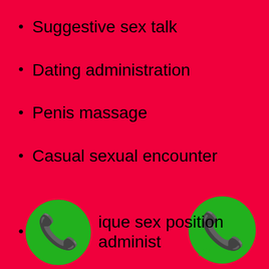Suggestive sex talk
Dating administration
Penis massage
Casual sexual encounter
ique sex position administ
[Figure (illustration): Green circle phone icon (call button style)]
[Figure (logo): WhatsApp green logo with phone handset in speech bubble]